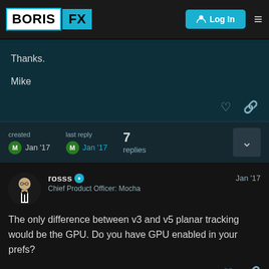BORIS FX — Log In
Thanks.

Mike
created Jan '17  last reply Jan '17  7 replies
rosss  Chief Product Officer: Mocha  Jan '17
The only difference between v3 and v5 planar tracking would be the GPU. Do you have GPU enabled in your prefs?